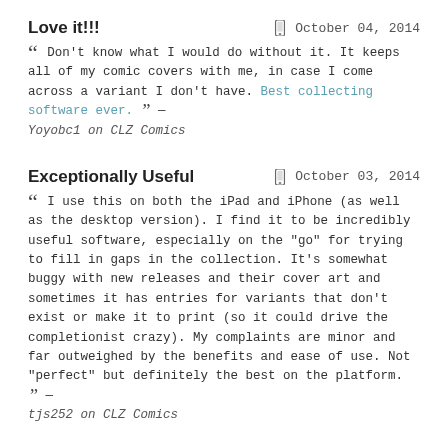Love it!!!
October 04, 2014
“ Don't know what I would do without it. It keeps all of my comic covers with me, in case I come across a variant I don't have. Best collecting software ever. ” — Yoyobc1 on CLZ Comics
Exceptionally Useful
October 03, 2014
“ I use this on both the iPad and iPhone (as well as the desktop version). I find it to be incredibly useful software, especially on the "go" for trying to fill in gaps in the collection. It's somewhat buggy with new releases and their cover art and sometimes it has entries for variants that don't exist or make it to print (so it could drive the completionist crazy). My complaints are minor and far outweighed by the benefits and ease of use. Not "perfect" but definitely the best on the platform. ” — tjs252 on CLZ Comics
Perfect for the obsessive collector